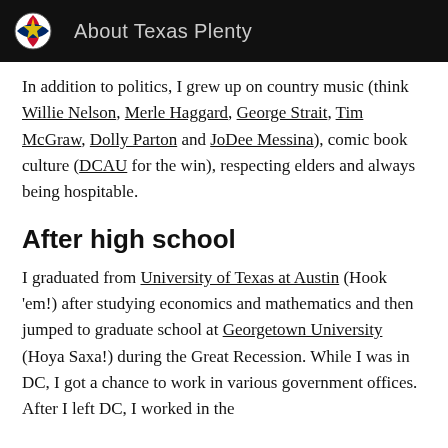About Texas Plenty
In addition to politics, I grew up on country music (think Willie Nelson, Merle Haggard, George Strait, Tim McGraw, Dolly Parton and JoDee Messina), comic book culture (DCAU for the win), respecting elders and always being hospitable.
After high school
I graduated from University of Texas at Austin (Hook 'em!) after studying economics and mathematics and then jumped to graduate school at Georgetown University (Hoya Saxa!) during the Great Recession. While I was in DC, I got a chance to work in various government offices. After I left DC, I worked in the